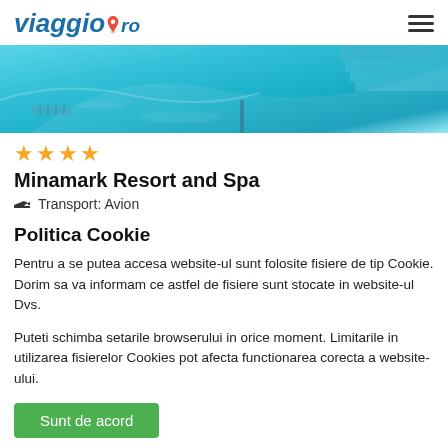viaggio.ro
[Figure (photo): Swimming pool with turquoise/blue water, partial view of pool edge and structure]
★★★★
Minamark Resort and Spa
✈ Transport: Avion
Hurghada - Egipt
25.04.2021
Politica Cookie
Pentru a se putea accesa website-ul sunt folosite fisiere de tip Cookie. Dorim sa va informam ce astfel de fisiere sunt stocate in website-ul Dvs.
Puteti schimba setarile browserului in orice moment. Limitarile in utilizarea fisierelor Cookies pot afecta functionarea corecta a website-ului.
Sunt de acord